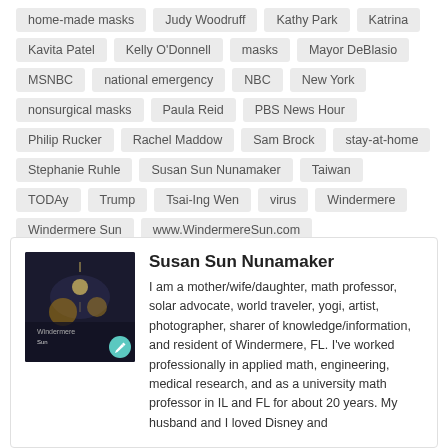home-made masks, Judy Woodruff, Kathy Park, Katrina, Kavita Patel, Kelly O'Donnell, masks, Mayor DeBlasio, MSNBC, national emergency, NBC, New York, nonsurgical masks, Paula Reid, PBS News Hour, Philip Rucker, Rachel Maddow, Sam Brock, stay-at-home, Stephanie Ruhle, Susan Sun Nunamaker, Taiwan, TODAy, Trump, Tsai-Ing Wen, virus, Windermere, Windermere Sun, www.WindermereSun.com
Susan Sun Nunamaker
I am a mother/wife/daughter, math professor, solar advocate, world traveler, yogi, artist, photographer, sharer of knowledge/information, and resident of Windermere, FL. I've worked professionally in applied math, engineering, medical research, and as a university math professor in IL and FL for about 20 years. My husband and I loved Disney and